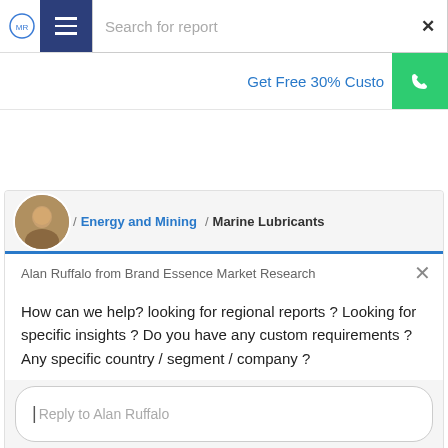Search for report
Get Free 30% Custo...
/ Energy and Mining / Marine Lubricants
Alan Ruffalo from Brand Essence Market Research
How can we help? looking for regional reports ? Looking for specific insights ? Do you have any custom requirements ? Any specific country / segment / company ?
Reply to Alan Ruffalo
Chat ⚡ by Drift